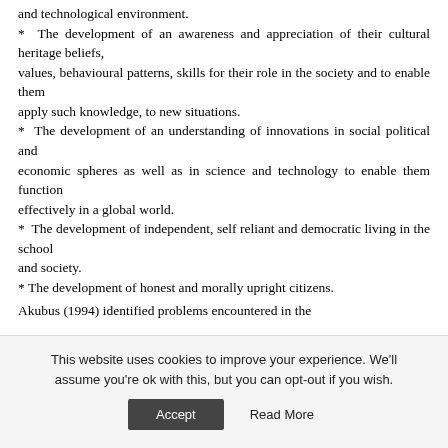and technological environment.
* The development of an awareness and appreciation of their cultural heritage beliefs, values, behavioural patterns, skills for their role in the society and to enable them apply such knowledge, to new situations.
* The development of an understanding of innovations in social political and economic spheres as well as in science and technology to enable them function effectively in a global world.
* The development of independent, self reliant and democratic living in the school and society.
* The development of honest and morally upright citizens.
Akubus (1994) identified problems encountered in the
This website uses cookies to improve your experience. We'll assume you're ok with this, but you can opt-out if you wish.
Accept    Read More